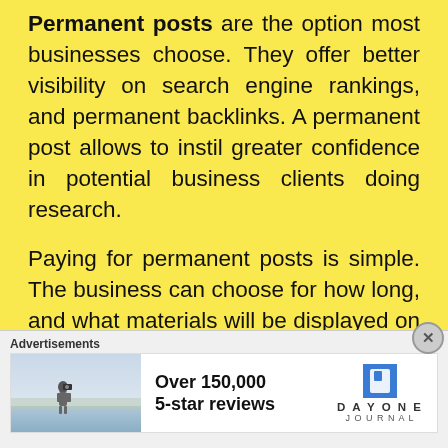Permanent posts are the option most businesses choose. They offer better visibility on search engine rankings, and permanent backlinks. A permanent post allows to instil greater confidence in potential business clients doing research.
Paying for permanent posts is simple. The business can choose for how long, and what materials will be displayed on the website. Monthly recurring payments are set up, and as long as they are paid, the
[Figure (infographic): Advertisement banner with an image of a person photographing a landscape, text 'Over 150,000 5-star reviews', and Day One Journal logo]
Advertisements